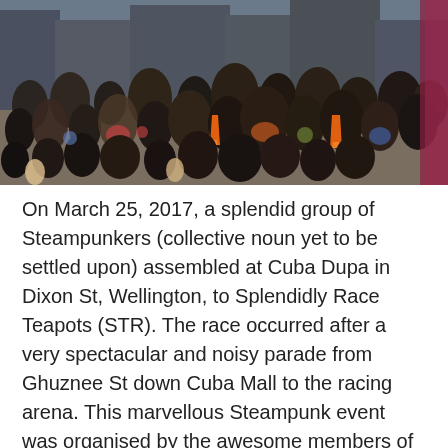[Figure (photo): Crowd of people at a street event in Wellington, New Zealand. A large group gathered on Cuba Mall with orange traffic cones visible and a colorful crowd in steampunk attire.]
On March 25, 2017, a splendid group of Steampunkers (collective noun yet to be settled upon) assembled at Cuba Dupa in Dixon St, Wellington, to Splendidly Race Teapots (STR). The race occurred after a very spectacular and noisy parade from Ghuznee St down Cuba Mall to the racing arena. This marvellous Steampunk event was organised by the awesome members of Capital! Steam and extra race track pieces were purloined from Steampunk Taranaki.
The combined obstacles resulted in the nose hair withering double Ramp of Doom making its first appearance, yes, you heard it correctly the DOUBLE Ramp of Doom (DRoD). The DRoD was a darsedly and devious